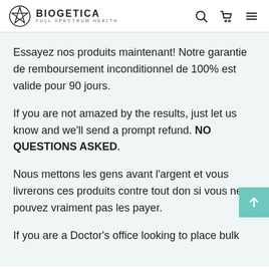BIOGETICA FULL SPECTRUM HEALTH
Essayez nos produits maintenant! Notre garantie de remboursement inconditionnel de 100% est valide pour 90 jours.
If you are not amazed by the results, just let us know and we'll send a prompt refund. NO QUESTIONS ASKED.
Nous mettons les gens avant l'argent et vous livrerons ces produits contre tout don si vous ne pouvez vraiment pas les payer.
If you are a Doctor's office looking to place bulk